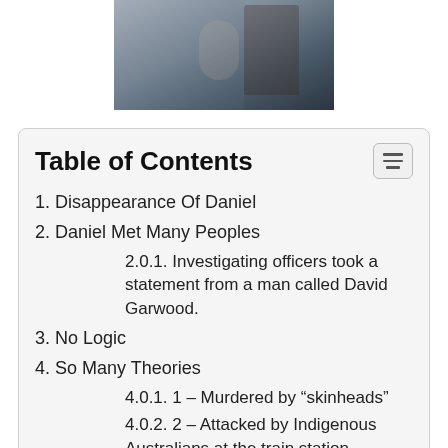[Figure (photo): Partial photo of a person, cropped at the top of the page, dark tones suggesting a jacket or coat]
Table of Contents
1. Disappearance Of Daniel
2. Daniel Met Many Peoples
2.0.1. Investigating officers took a statement from a man called David Garwood.
3. No Logic
4. So Many Theories
4.0.1. 1 – Murdered by “skinheads”
4.0.2. 2 – Attacked by Indigenous Australians at the train station